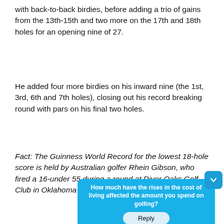with back-to-back birdies, before adding a trio of gains from the 13th-15th and two more on the 17th and 18th holes for an opening nine of 27.
He added four more birdies on his inward nine (the 1st, 3rd, 6th and 7th holes), closing out his record breaking round with pars on his final two holes.
Fact: The Guinness World Record for the lowest 18-hole score is held by Australian golfer Rhein Gibson, who fired a 16-under 55 during a round at River Oaks Golf Club in Oklahoma in 2012.
[Figure (screenshot): A blue popup survey widget asking 'How much have the rises in the cost of living affected the amount you spend on golfing?' with a Reply button. A darker blue chevron/collapse button appears at the top right corner of the widget.]